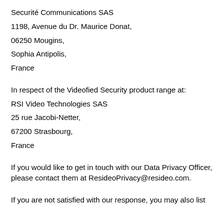Securité Communications SAS
1198, Avenue du Dr. Maurice Donat,
06250 Mougins,
Sophia Antipolis,
France
In respect of the Videofied Security product range at:
RSI Video Technologies SAS
25 rue Jacobi-Netter,
67200 Strasbourg,
France
If you would like to get in touch with our Data Privacy Officer, please contact them at ResideoPrivacy@resideo.com.
If you are not satisfied with our response, you may also list